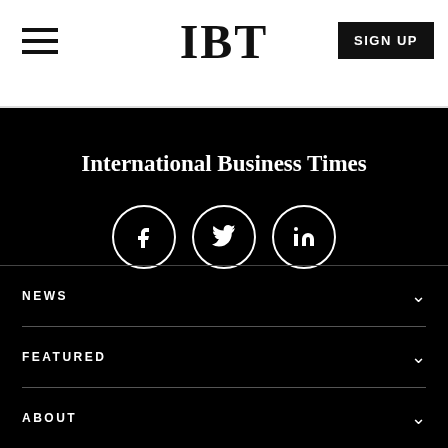IBT | SIGN UP
International Business Times
[Figure (infographic): Social media icons: Facebook, Twitter, LinkedIn — white circles on black background]
NEWS
FEATURED
ABOUT